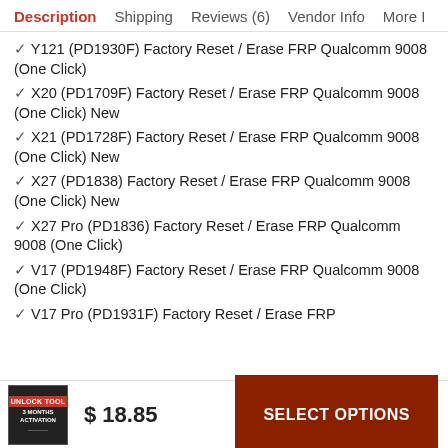Description  Shipping  Reviews (6)  Vendor Info  More
✓ Y121 (PD1930F) Factory Reset / Erase FRP Qualcomm 9008 (One Click)
✓ X20 (PD1709F) Factory Reset / Erase FRP Qualcomm 9008 (One Click) New
✓ X21 (PD1728F) Factory Reset / Erase FRP Qualcomm 9008 (One Click) New
✓ X27 (PD1838) Factory Reset / Erase FRP Qualcomm 9008 (One Click) New
✓ X27 Pro (PD1836) Factory Reset / Erase FRP Qualcomm 9008 (One Click)
✓ V17 (PD1948F) Factory Reset / Erase FRP Qualcomm 9008 (One Click)
✓ V17 Pro (PD1931F) Factory Reset / Erase FRP
$ 18.85
SELECT OPTIONS